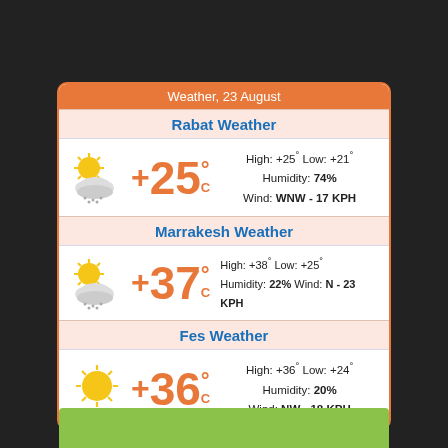Weather, 23 August
Rabat Weather
High: +25° Low: +21° Humidity: 74% Wind: WNW - 17 KPH
Marrakesh Weather
High: +38° Low: +25° Humidity: 22% Wind: N - 23 KPH
Fes Weather
High: +36° Low: +24° Humidity: 20% Wind: NW - 18 KPH